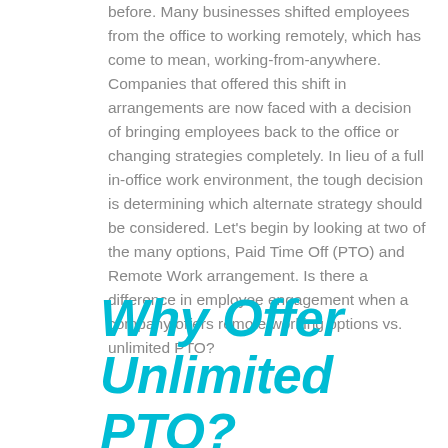before. Many businesses shifted employees from the office to working remotely, which has come to mean, working-from-anywhere. Companies that offered this shift in arrangements are now faced with a decision of bringing employees back to the office or changing strategies completely. In lieu of a full in-office work environment, the tough decision is determining which alternate strategy should be considered. Let's begin by looking at two of the many options, Paid Time Off (PTO) and Remote Work arrangement. Is there a difference in employee engagement when a company offers remote working options vs. unlimited PTO?
Why Offer Unlimited PTO?